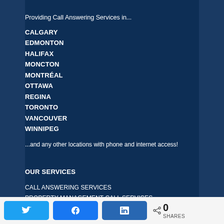Providing Call Answering Services in...
CALGARY
EDMONTON
HALIFAX
MONCTON
MONTRÉAL
OTTAWA
REGINA
TORONTO
VANCOUVER
WINNIPEG
...and any other locations with phone and internet access!
OUR SERVICES
CALL ANSWERING SERVICES
PROPERTY MANAGEMENT CALL SERVICES
I24 EMAIL MANAGEMENT SERVICES
Share buttons: Twitter, Facebook, LinkedIn | 0 SHARES